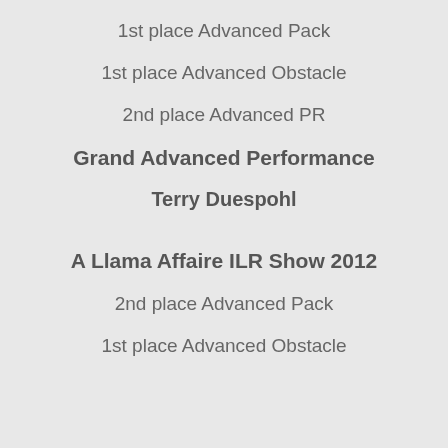1st place Advanced Pack
1st place Advanced Obstacle
2nd place Advanced PR
Grand Advanced Performance
Terry Duespohl
A Llama Affaire ILR Show 2012
2nd place Advanced Pack
1st place Advanced Obstacle